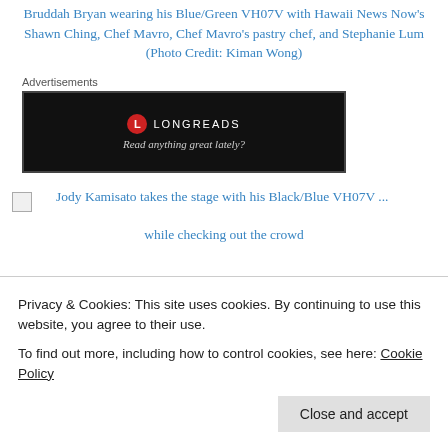Bruddah Bryan wearing his Blue/Green VH07V with Hawaii News Now's Shawn Ching, Chef Mavro, Chef Mavro's pastry chef, and Stephanie Lum (Photo Credit: Kiman Wong)
[Figure (other): Longreads advertisement banner — dark background with Longreads logo and tagline 'Read anything great lately?']
[Figure (photo): Broken image placeholder for Jody Kamisato photo]
Jody Kamisato takes the stage with his Black/Blue VH07V ... while checking out the crowd
Privacy & Cookies: This site uses cookies. By continuing to use this website, you agree to their use.
To find out more, including how to control cookies, see here: Cookie Policy